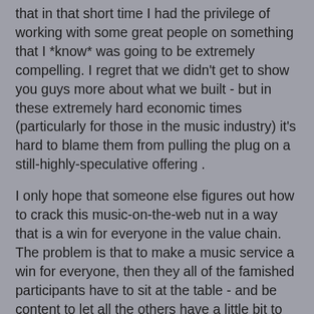that in that short time I had the privilege of working with some great people on something that I *know* was going to be extremely compelling. I regret that we didn't get to show you guys more about what we built - but in these extremely hard economic times (particularly for those in the music industry) it's hard to blame them from pulling the plug on a still-highly-speculative offering .
I only hope that someone else figures out how to crack this music-on-the-web nut in a way that is a win for everyone in the value chain. The problem is that to make a music service a win for everyone, then they all of the famished participants have to sit at the table - and be content to let all the others have a little bit to eat, even though they are still hungry themselves.
I, first and foremost, am a music consumer - so I'm always compelled by the innovation happening down at the consumer-level and then try to follow it back up the chain to the content creators. This gives me a decidedly different perspective than the artists and labels that are trying to solve this from the other direction. But, from where I sit at least, I